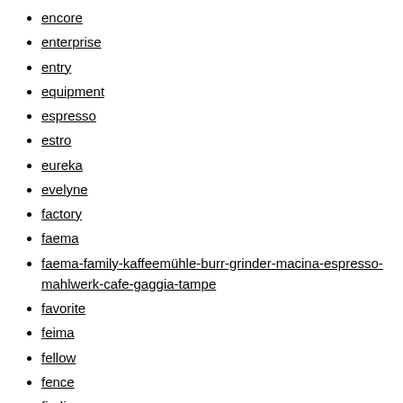encore
enterprise
entry
equipment
espresso
estro
eureka
evelyne
factory
faema
faema-family-kaffeemühle-burr-grinder-macina-espresso-mahlwerk-cafe-gaggia-tampe
favorite
feima
fellow
fence
finding
fiorenzato
follow
free
french